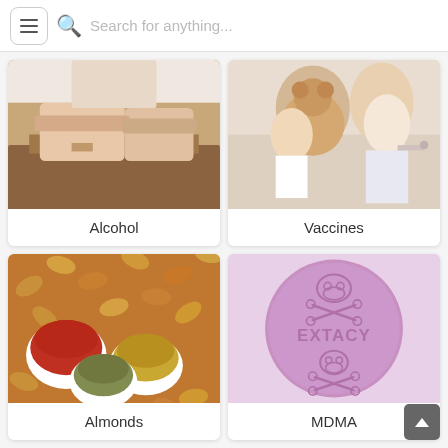Search for anything...
[Figure (photo): Person resting arms on a wooden table or dresser - associated with Alcohol topic]
Alcohol
[Figure (photo): Child holding teddy bear while receiving a vaccination from a healthcare worker - associated with Vaccines topic]
Vaccines
[Figure (photo): Assorted almonds and nuts with small bowls of spices including red peppers, cinnamon and seeds - associated with Almonds topic]
Almonds
[Figure (photo): Purple round MDMA/Ecstasy pill stamped with EXTACY text and skull and crossbones symbols]
MDMA